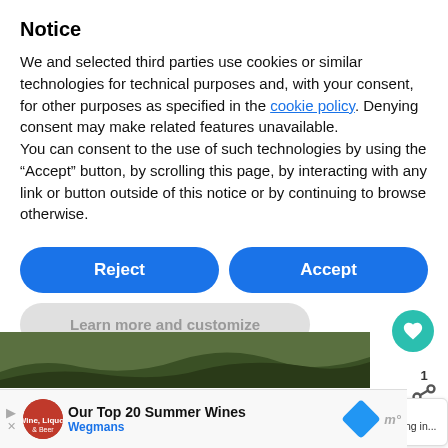Notice
We and selected third parties use cookies or similar technologies for technical purposes and, with your consent, for other purposes as specified in the cookie policy. Denying consent may make related features unavailable.
You can consent to the use of such technologies by using the “Accept” button, by scrolling this page, by interacting with any link or button outside of this notice or by continuing to browse otherwise.
Reject | Accept
Learn more and customize
[Figure (screenshot): Photo strip showing a mountain trail scene]
[Figure (screenshot): Advertisement bar: Our Top 20 Summer Wines - Wegmans]